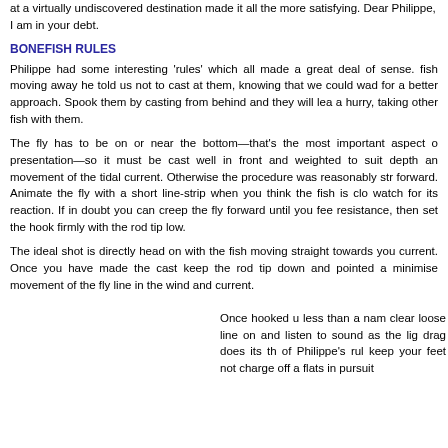at a virtually undiscovered destination made it all the more satisfying. Dear Philippe, I am in your debt.
BONEFISH RULES
Philippe had some interesting 'rules' which all made a great deal of sense. fish moving away he told us not to cast at them, knowing that we could wade for a better approach. Spook them by casting from behind and they will lea a hurry, taking other fish with them.
The fly has to be on or near the bottom—that's the most important aspect of presentation—so it must be cast well in front and weighted to suit depth and movement of the tidal current. Otherwise the procedure was reasonably straight forward. Animate the fly with a short line-strip when you think the fish is close watch for its reaction. If in doubt you can creep the fly forward until you feel resistance, then set the hook firmly with the rod tip low.
The ideal shot is directly head on with the fish moving straight towards you current. Once you have made the cast keep the rod tip down and pointed at minimise movement of the fly line in the wind and current.
Once hooked up less than a name clear loose line on and listen to sound as the lig drag does its th of Philippe's rul keep your feet not charge off a flats in pursuit